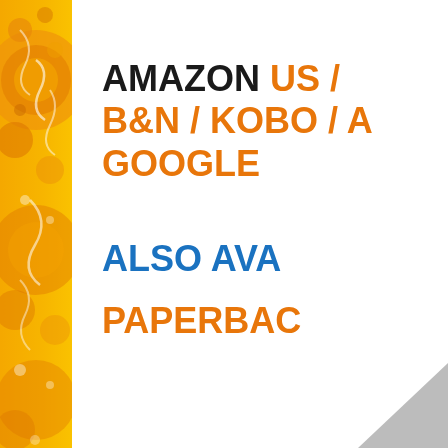[Figure (illustration): Decorative orange/yellow illustrated side bar with swirls, circles and fruit motifs on the left edge of the page]
AMAZON US / B&N / KOBO / A GOOGLE
ALSO AVA
PAPERBAC
[Figure (logo): Gray triangle logo partially visible at bottom right corner]